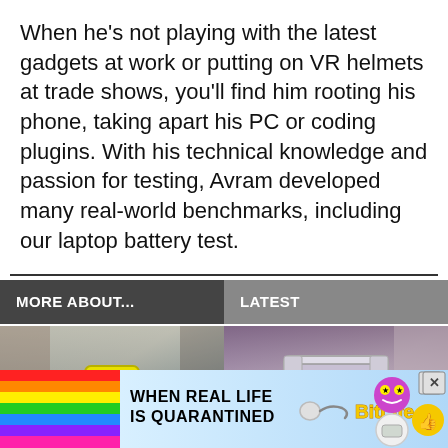When he's not playing with the latest gadgets at work or putting on VR helmets at trade shows, you'll find him rooting his phone, taking apart his PC or coding plugins. With his technical knowledge and passion for testing, Avram developed many real-world benchmarks, including our laptop battery test.
MORE ABOUT...
LATEST
[Figure (photo): A yellow robot-like device or gadget in a workshop/lab setting with blurred background]
[Figure (photo): An AMD Ryzen processor chip in packaging]
[Figure (infographic): BitLife advertisement banner with rainbow, text 'WHEN REAL LIFE IS QUARANTINED', BitLife logo, and emoji icons]